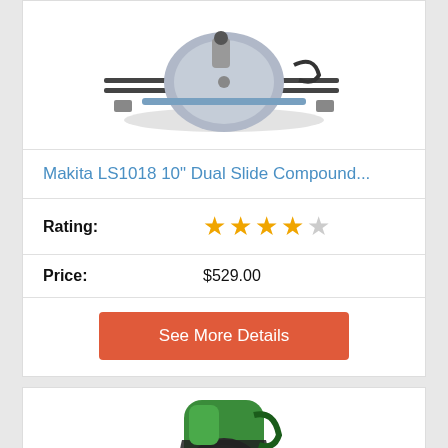[Figure (photo): Makita LS1018 miter saw product image, silver/grey color on white background]
Makita LS1018 10" Dual Slide Compound...
Rating: ★★★★☆
Price: $529.00
See More Details
[Figure (photo): Hitachi miter saw product image, green/black color, partially visible at bottom]